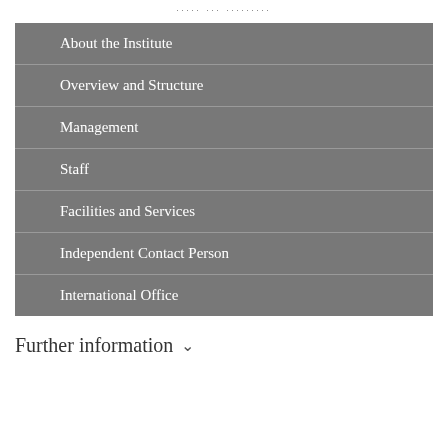..... ... .........
About the Institute
Overview and Structure
Management
Staff
Facilities and Services
Independent Contact Person
International Office
Further information